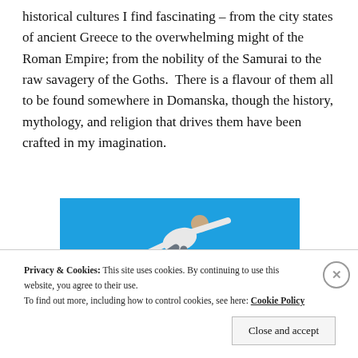historical cultures I find fascinating – from the city states of ancient Greece to the overwhelming might of the Roman Empire; from the nobility of the Samurai to the raw savagery of the Goths.  There is a flavour of them all to be found somewhere in Domanska, though the history, mythology, and religion that drives them have been crafted in my imagination.
[Figure (photo): A person in a white shirt and grey pants leaping/diving sideways with arms extended, against a bright blue background. A partial teal/green bar element is visible at the bottom right.]
Privacy & Cookies: This site uses cookies. By continuing to use this website, you agree to their use.
To find out more, including how to control cookies, see here: Cookie Policy